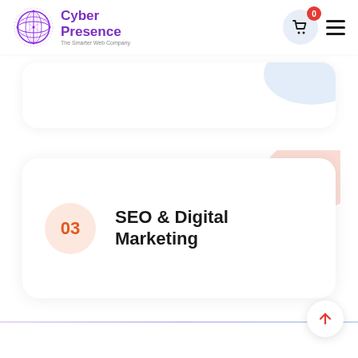[Figure (logo): Cyber Presence logo with purple geometric globe icon and text 'Cyber Presence - The Smarter Web Company']
[Figure (screenshot): Partially visible white card with blue blob decoration in top right]
SEO & Digital Marketing
[Figure (infographic): Service card showing number 03 badge and SEO & Digital Marketing title with pink blob decoration]